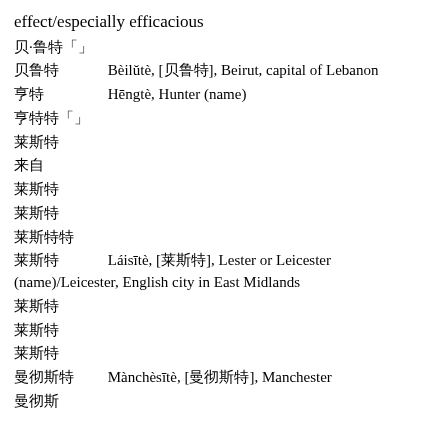effect/especially efficacious
贝·鲁特
贝鲁特   Bèilǔtè, [贝鲁特], Beirut, capital of Lebanon
亨特   Hēngtè, Hunter (name)
亨特特
莱斯特
来自
莱斯特
莱斯特
莱斯特特
莱斯特   Láisītè, [莱斯特], Lester or Leicester (name)/Leicester, English city in East Midlands
莱斯特
莱斯特
莱斯特
曼彻斯特   Mànchèsītè, [曼彻斯特], Manchester
曼彻斯